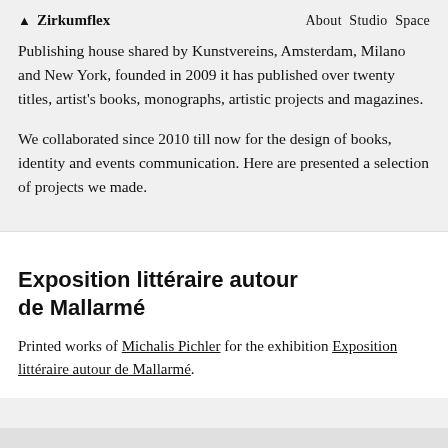▲ Zirkumflex    About Studio Space
Publishing house shared by Kunstvereins, Amsterdam, Milano and New York, founded in 2009 it has published over twenty titles, artist's books, monographs, artistic projects and magazines.
We collaborated since 2010 till now for the design of books, identity and events communication. Here are presented a selection of projects we made.
Exposition littéraire autour de Mallarmé
Printed works of Michalis Pichler for the exhibition Exposition littéraire autour de Mallarmé.